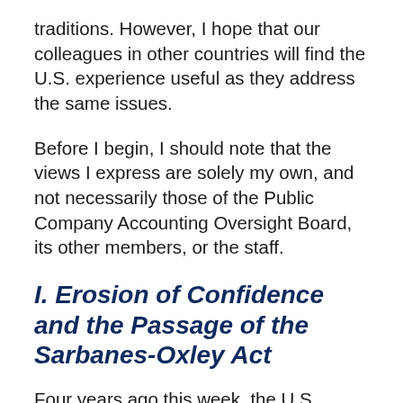traditions.  However, I hope that our colleagues in other countries will find the U.S. experience useful as they address the same issues.
Before I begin, I should note that the views I express are solely my own, and not necessarily those of the Public Company Accounting Oversight Board, its other members, or the staff.
I. Erosion of Confidence and the Passage of the Sarbanes-Oxley Act
Four years ago this week, the U.S. Congress, by a nearly unanimous vote, enacted the